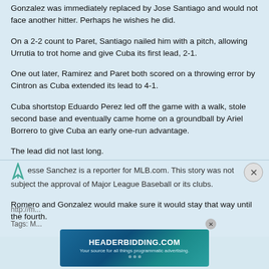Gonzalez was immediately replaced by Jose Santiago and would not face another hitter. Perhaps he wishes he did.
On a 2-2 count to Paret, Santiago nailed him with a pitch, allowing Urrutia to trot home and give Cuba its first lead, 2-1.
One out later, Ramirez and Paret both scored on a throwing error by Cintron as Cuba extended its lead to 4-1.
Cuba shortstop Eduardo Perez led off the game with a walk, stole second base and eventually came home on a groundball by Ariel Borrero to give Cuba an early one-run advantage.
The lead did not last long.
Puerto Rico answered in the bottom half of the frame with a leadoff home run by Bernie Williams to tie the score.
Romero and Gonzalez would make sure it would stay that way until the fourth.
Jesse Sanchez is a reporter for MLB.com. This story was not subject the approval of Major League Baseball or its clubs.
[Figure (screenshot): HEADERBIDDING.COM advertisement banner - Your source for all things programmatic advertising.]